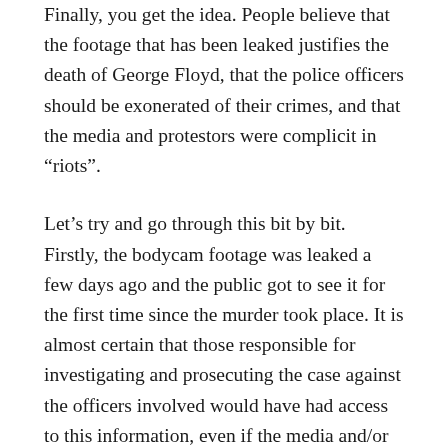Finally, you get the idea. People believe that the footage that has been leaked justifies the death of George Floyd, that the police officers should be exonerated of their crimes, and that the media and protestors were complicit in “riots”.
Let’s try and go through this bit by bit. Firstly, the bodycam footage was leaked a few days ago and the public got to see it for the first time since the murder took place. It is almost certain that those responsible for investigating and prosecuting the case against the officers involved would have had access to this information, even if the media and/or the public did not. Secondly, even if they did not have access to it, you would then have to prove that what took place in the bodycam footage not only justified the murder of